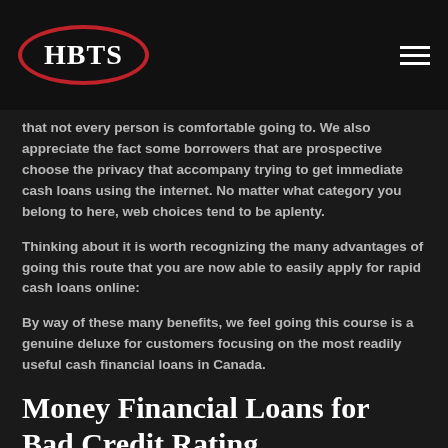HBTS
that not every person is comfortable going to. We also appreciate the fact some borrowers that are prospective choose the privacy that accompany trying to get immediate cash loans using the internet. No matter what category you belong to here, web choices tend to be aplenty.
Thinking about it is worth recognizing the many advantages of going this route that you are now able to easily apply for rapid cash loans online:
By way of these many benefits, we feel going this course is a genuine deluxe for customers focusing on the most readily useful cash financial loans in Canada.
Money Financial Loans for Bad Credit Rating
Once we grow older and encounter more monetary obligations,